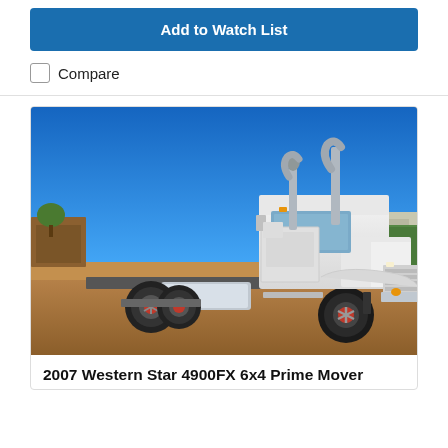Add to Watch List
Compare
[Figure (photo): Side view of a white 2007 Western Star 4900FX 6x4 Prime Mover truck parked on red/brown dirt ground with clear blue sky background. The truck has chrome exhaust stacks and red-spoked rear wheels. Other vehicles and a green shipping container are visible in the background.]
2007 Western Star 4900FX 6x4 Prime Mover